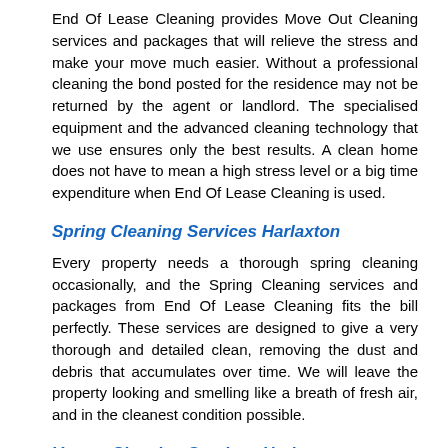End Of Lease Cleaning provides Move Out Cleaning services and packages that will relieve the stress and make your move much easier. Without a professional cleaning the bond posted for the residence may not be returned by the agent or landlord. The specialised equipment and the advanced cleaning technology that we use ensures only the best results. A clean home does not have to mean a high stress level or a big time expenditure when End Of Lease Cleaning is used.
Spring Cleaning Services Harlaxton
Every property needs a thorough spring cleaning occasionally, and the Spring Cleaning services and packages from End Of Lease Cleaning fits the bill perfectly. These services are designed to give a very thorough and detailed clean, removing the dust and debris that accumulates over time. We will leave the property looking and smelling like a breath of fresh air, and in the cleanest condition possible.
Vacate Cleaning Services Harlaxton
The Vacate Cleaning services and packages at End Of Lease